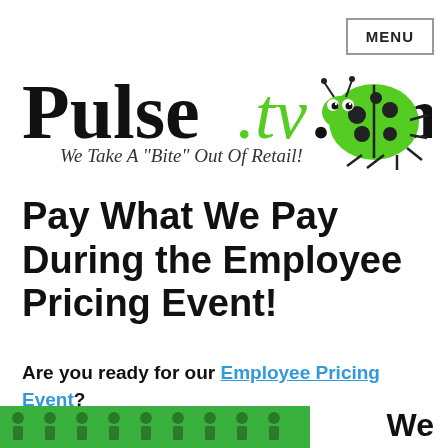MENU
[Figure (logo): PulseTV.com logo with green ladybug mascot and tagline 'We Take A Bite Out Of Retail!']
Pay What We Pay During the Employee Pricing Event!
Are you ready for our Employee Pricing Event?
[Figure (illustration): Green banner strip with small green figure icons at the bottom left, and 'We' text at bottom right]